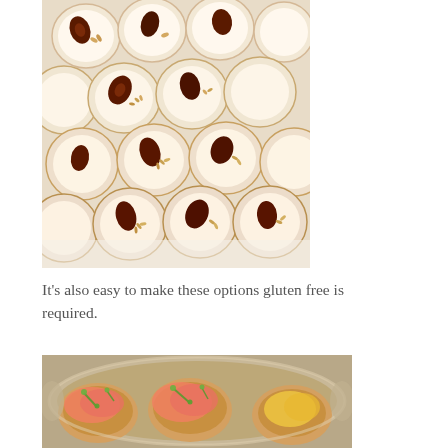[Figure (photo): Top-down photo of small round pastry cups/bites arranged on a white tray, topped with nuts and dried fruits (dates, pecans, pine nuts)]
It's also easy to make these options gluten free is required.
[Figure (photo): Photo of small round canapés/blinis on a silver platter, topped with smoked salmon, cream and green onion garnish]